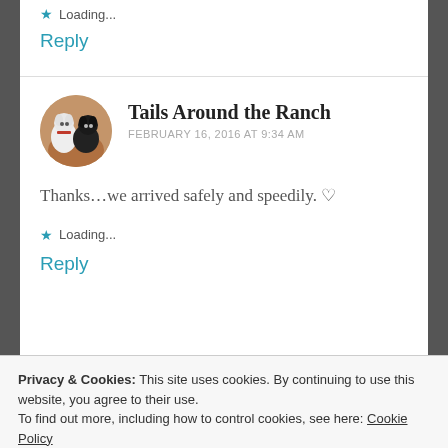Loading...
Reply
Tails Around the Ranch
FEBRUARY 16, 2016 AT 9:34 AM
Thanks...we arrived safely and speedily. ♡
Loading...
Reply
Privacy & Cookies: This site uses cookies. By continuing to use this website, you agree to their use. To find out more, including how to control cookies, see here: Cookie Policy
Close and accept
I'm sure gonna miss you.